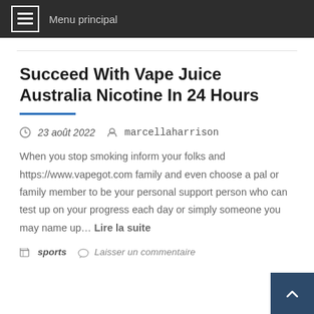Menu principal
Succeed With Vape Juice Australia Nicotine In 24 Hours
23 août 2022   marcellaharrison
When you stop smoking inform your folks and https://www.vapegot.com family and even choose a pal or family member to be your personal support person who can test up on your progress each day or simply someone you may name up… Lire la suite
sports   Laisser un commentaire